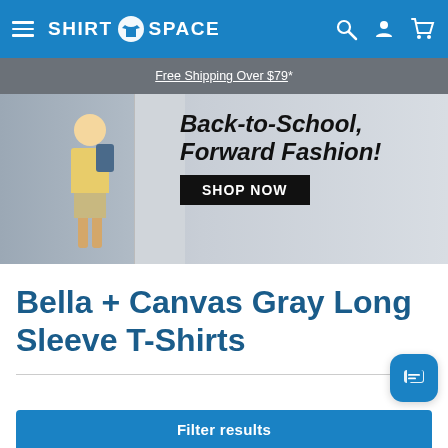Shirt Space — navigation bar with hamburger menu, logo, search, account, and cart icons
Free Shipping Over $79 *
[Figure (illustration): Back-to-school promotional banner showing a child with a backpack near school lockers, with bold italic text 'Back-to-School, Forward Fashion!' and a black 'SHOP NOW' button]
Bella + Canvas Gray Long Sleeve T-Shirts
Filter results